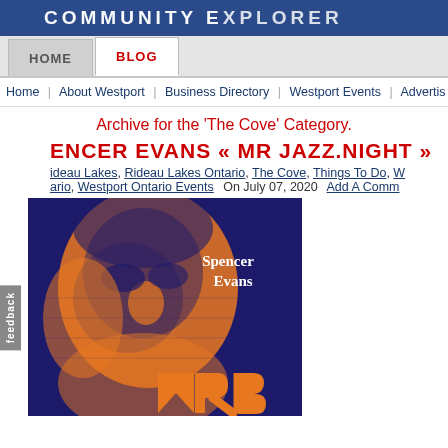COMMUNITY EXPLORER
HOME | BLOG
Home | About Westport | Business Directory | Westport Events | Advertis...
Archive for the 'The Cove' Category.
SPENCER EVANS « MR JAZZ.NIGHT »
Rideau Lakes, Rideau Lakes Ontario, The Cove, Things To Do, W...ario, Westport Ontario Events  On July 07, 2020  Add A Comm...
[Figure (photo): Spencer Evans Mr Jazz Night promotional poster with orange and dark blue duotone portrait of a person and the text 'Spencer Evans' in white on dark blue background, with large orange stylized letters at bottom]